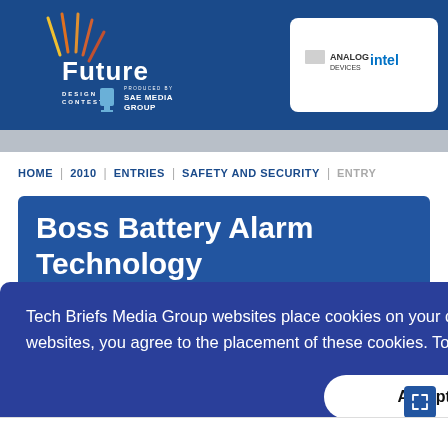Future Design Contest — Produced by SAE Media Group | Analog Devices | Intel
HOME | 2010 | ENTRIES | SAFETY AND SECURITY | ENTRY
Boss Battery Alarm Technology
Tech Briefs Media Group websites place cookies on your device to give you the best user experience. By using our websites, you agree to the placement of these cookies. To learn more, read our Privacy Policy.
Accept & Continue